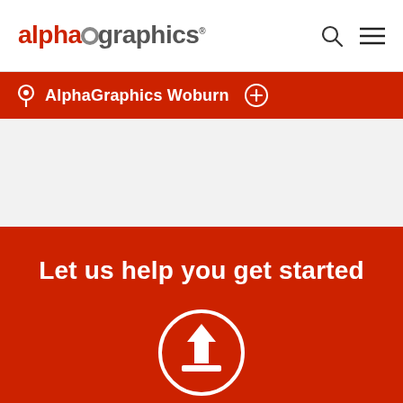alphagraphics
AlphaGraphics Woburn
Let us help you get started
[Figure (illustration): Upload icon: upward arrow with a tray, inside a white circle outline, on red background]